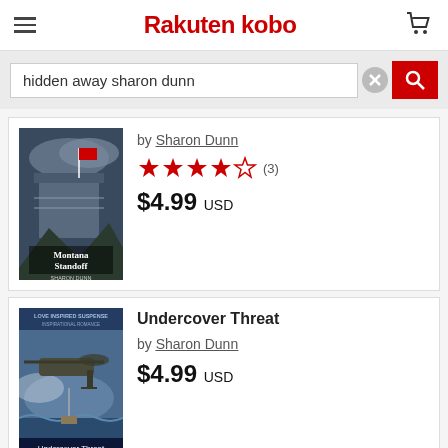Rakuten kobo
hidden away sharon dunn
[Figure (screenshot): Book cover for Montana Standoff by Sharon Dunn]
by Sharon Dunn
3.5 stars (3)
$4.99 USD
Undercover Threat
by Sharon Dunn
$4.99 USD
[Figure (screenshot): Book cover for Undercover Threat by Sharon Dunn]